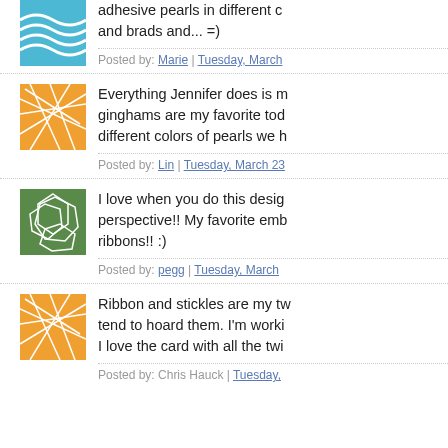[Figure (illustration): Blue wavy lines avatar image]
adhesive pearls in different colors and brads and... =)
Posted by: Marie | Tuesday, March
[Figure (illustration): Orange background with white geometric network lines avatar]
Everything Jennifer does is my favorite too, ginghams are my favorite today and the different colors of pearls we h
Posted by: Lin | Tuesday, March 23
[Figure (illustration): Green background with white polygon/pebble pattern avatar]
I love when you do this design from a different perspective!! My favorite embellishments are ribbons!! :)
Posted by: pegg | Tuesday, March
[Figure (illustration): Orange background with white geometric network lines avatar]
Ribbon and stickles are my two faves, I tend to hoard them. I'm working on it. I love the card with all the twi
Posted by: Chris Hauck | Tuesday,